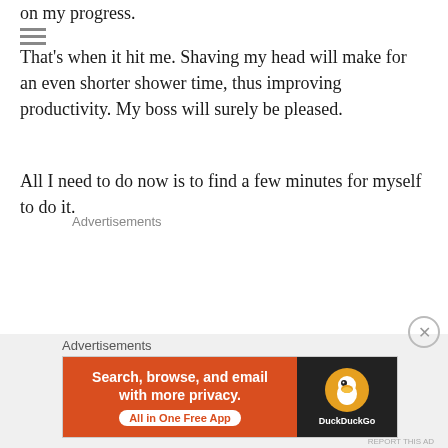on my progress.
That's when it hit me. Shaving my head will make for an even shorter shower time, thus improving productivity. My boss will surely be pleased.
All I need to do now is to find a few minutes for myself  to do it.
Advertisements
Advertisements
[Figure (screenshot): DuckDuckGo advertisement banner: orange left panel with text 'Search, browse, and email with more privacy. All in One Free App', dark right panel with DuckDuckGo logo and duck icon.]
REPORT THIS AD